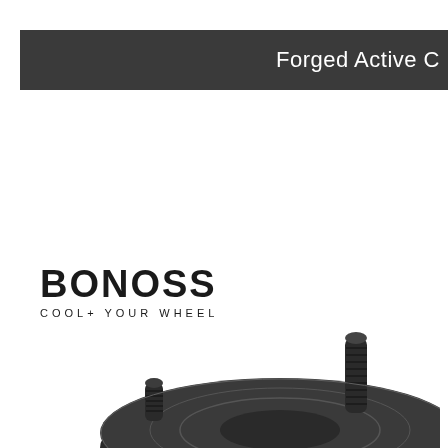Forged Active C
[Figure (logo): BONOSS logo with tagline COOL+ YOUR WHEEL in black stencil-style font]
[Figure (photo): Black forged wheel spacer/adapter with threaded studs, photographed from above on white background, partially cropped at bottom of page]